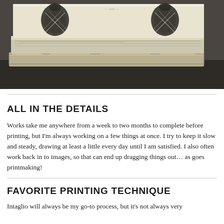[Figure (photo): Stacked printmaking blocks/plates with pineapple motif prints visible on top, photographed on a dark surface. The plates appear worn and layered.]
ALL IN THE DETAILS
Works take me anywhere from a week to two months to complete before printing, but I'm always working on a few things at once. I try to keep it slow and steady, drawing at least a little every day until I am satisfied. I also often work back in to images, so that can end up dragging things out… as goes printmaking!
FAVORITE PRINTING TECHNIQUE
Intaglio will always be my go-to process, but it's not always very